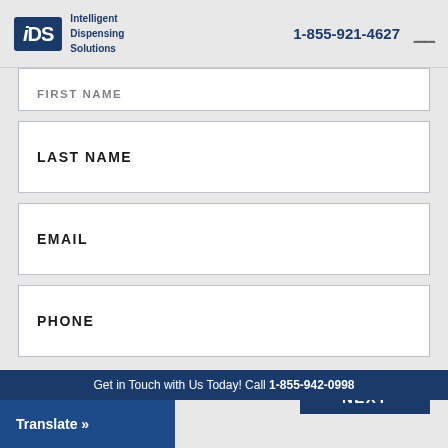Intelligent Dispensing Solutions | 1-855-921-4627
FIRST NAME
LAST NAME
EMAIL
PHONE
RESET
NEXT
Get in Touch with Us Today! Call 1-855-942-0998
Translate »